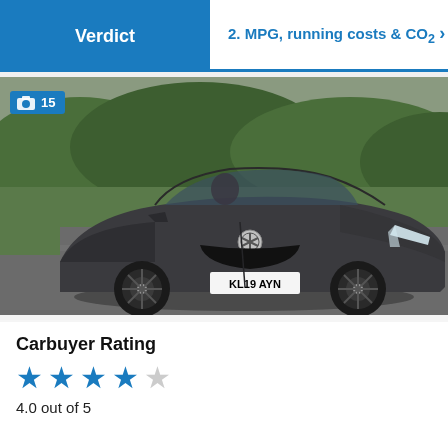Verdict | 2. MPG, running costs & CO2
[Figure (photo): Mercedes-Benz A-Class saloon (registration KL19 AYN) in dark grey, photographed from a front three-quarter angle on a road with green hedges in background. Badge overlay shows image count: 15.]
Carbuyer Rating
4.0 out of 5